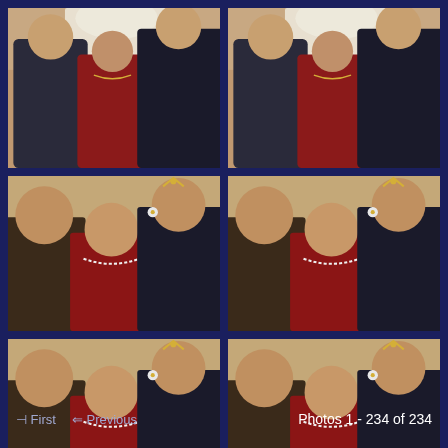[Figure (photo): Top-left photo: Three women posing together at a formal event; one in red dress, one in black dress, one in black top. Floral decoration visible in background.]
[Figure (photo): Top-right photo: Same three women, same pose and attire, appears to be a duplicate or nearly identical shot.]
[Figure (photo): Middle-left photo: Three young women smiling closely together. One wearing a tiara, one in red dress with pearl necklace, one in black sheer top.]
[Figure (photo): Middle-right photo: Same three young women, same pose, near-duplicate shot.]
[Figure (photo): Bottom-left photo: Same three young women smiling together, similar to middle row photos.]
[Figure (photo): Bottom-right photo: Same three young women, near-duplicate of bottom-left.]
⊣ First   ⇐ Previous   Photos 1 - 234 of 234